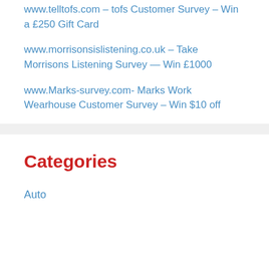www.telltofs.com – tofs Customer Survey – Win a £250 Gift Card
www.morrisonsislistening.co.uk – Take Morrisons Listening Survey — Win £1000
www.Marks-survey.com- Marks Work Wearhouse Customer Survey – Win $10 off
Categories
Auto